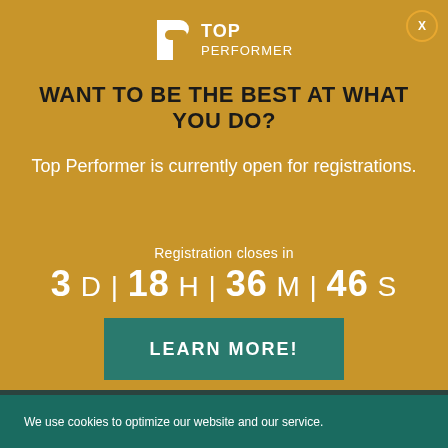[Figure (logo): Top Performer logo with white P icon and TOP PERFORMER text in white on golden background]
WANT TO BE THE BEST AT WHAT YOU DO?
Top Performer is currently open for registrations.
Registration closes in
3 D | 18 H | 36 M | 46 S
LEARN MORE!
We use cookies to optimize our website and our service.
Accept
Cookie Policy  Privacy Policy